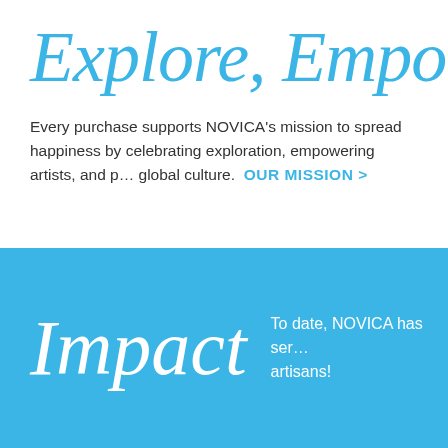Explore, Empower,
Every purchase supports NOVICA's mission to spread happiness by celebrating exploration, empowering artists, and promoting global culture.  OUR MISSION >
Impact
To date, NOVICA has sent earnings to artisans!